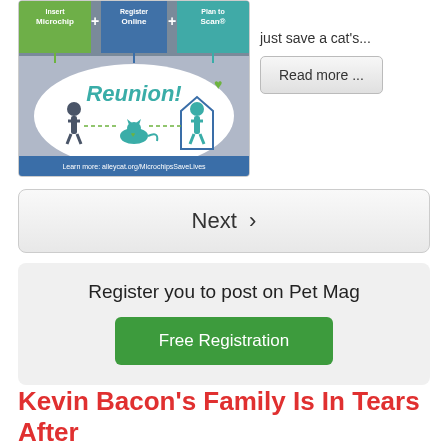[Figure (illustration): Microchip infographic: Insert Microchip + Register Online + Plan to Scan = Reunion! with illustrated people and cat, text 'Learn more: alleycat.org/MicrochipsSaveLives']
just save a cat's...
Read more ...
Next ›
Register you to post on Pet Mag
Free Registration
Kevin Bacon's Family Is In Tears After